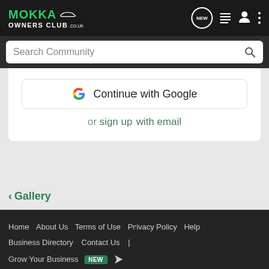[Figure (screenshot): Mokka Owners Club logo with green text and car silhouette on dark background]
Search Community
[Figure (screenshot): Continue with Google button with Google G logo]
or sign up with email
< Gallery
Home  About Us  Terms of Use  Privacy Policy  Help  Business Directory  Contact Us  |  Grow Your Business  NEW  (rss icon)  VerticalScope Inc., 111 Peter Street, Suite 600, Toronto, Ontario, M5V 2H1, Canada